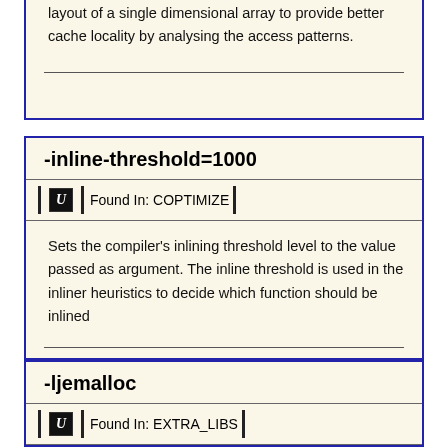layout of a single dimensional array to provide better cache locality by analysing the access patterns.
-inline-threshold=1000
Found In: COPTIMIZE
Sets the compiler's inlining threshold level to the value passed as argument. The inline threshold is used in the inliner heuristics to decide which function should be inlined
-ljemalloc
Found In: EXTRA_LIBS